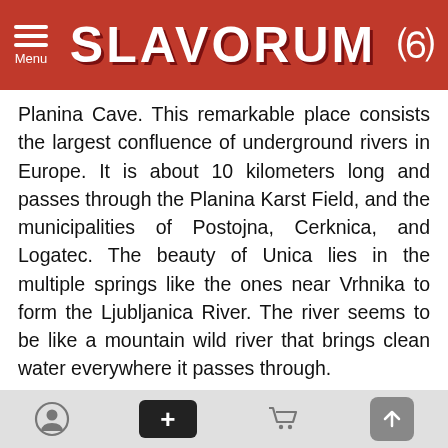SLAVORUM
Planina Cave. This remarkable place consists the largest confluence of underground rivers in Europe. It is about 10 kilometers long and passes through the Planina Karst Field, and the municipalities of Postojna, Cerknica, and Logatec. The beauty of Unica lies in the multiple springs like the ones near Vrhnika to form the Ljubljanica River. The river seems to be like a mountain wild river that brings clean water everywhere it passes through.
Volga
Navigation footer with user, add, cart, and scroll-up buttons